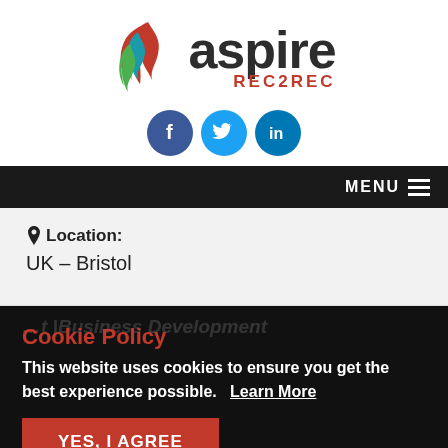[Figure (logo): Aspire Rec2Rec logo with flame icon in red, teal, and green, with large dark grey 'aspire' text and red 'REC2REC' subtext]
[Figure (infographic): Three social media icon circles: Facebook (dark blue), Twitter (light blue), LinkedIn (teal blue)]
MENU ≡
Location:
UK – Bristol
Cookie Policy
This website uses cookies to ensure you get the best experience possible. Learn More
YES, I AGREE